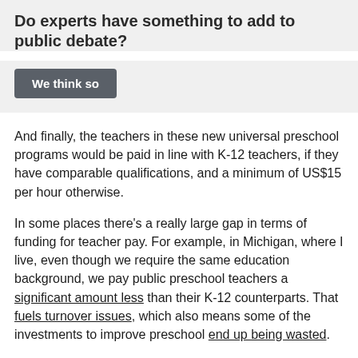Do experts have something to add to public debate?
We think so
And finally, the teachers in these new universal preschool programs would be paid in line with K-12 teachers, if they have comparable qualifications, and a minimum of US$15 per hour otherwise.
In some places there’s a really large gap in terms of funding for teacher pay. For example, in Michigan, where I live, even though we require the same education background, we pay public preschool teachers a significant amount less than their K-12 counterparts. That fuels turnover issues, which also means some of the investments to improve preschool end up being wasted.